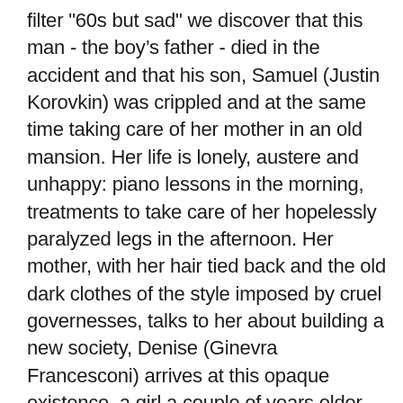filter "60s but sad" we discover that this man - the boy's father - died in the accident and that his son, Samuel (Justin Korovkin) was crippled and at the same time taking care of her mother in an old mansion. Her life is lonely, austere and unhappy: piano lessons in the morning, treatments to take care of her hopelessly paralyzed legs in the afternoon. Her mother, with her hair tied back and the old dark clothes of the style imposed by cruel governesses, talks to her about building a new society, Denise (Ginevra Francesconi) arrives at this opaque existence, a girl a couple of years older than Samuel, employed with the service personnel. After an initial sting, Denise begins to feel as intrigued by the boy as he is by her. Their bond is sealed when she lends him her iPod with a Pixies track. Ah, so we weren't in the past. It follows the development of the romantic bond between these two teenagers, which is punctually scanned by scenes that are inexplicable